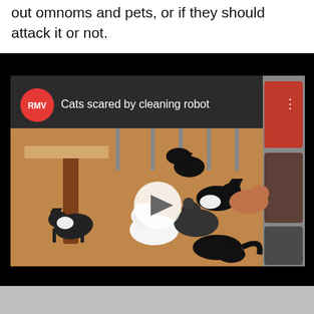out omnoms and pets, or if they should attack it or not.
[Figure (screenshot): Embedded video thumbnail showing multiple cats on a wooden floor in what appears to be a cat cafe. A red RMV badge is visible top-left with the title 'Cats scared by cleaning robot'. A white play button is centered on the image.]